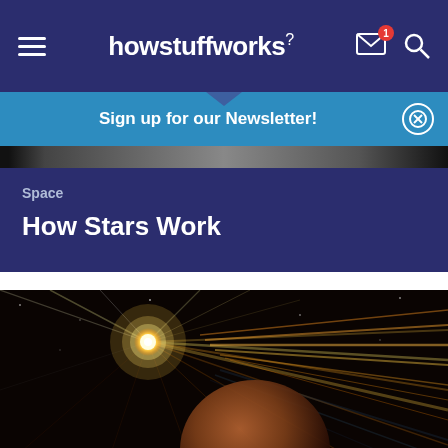howstuffworks
Sign up for our Newsletter!
Space
How Stars Work
[Figure (illustration): Artist's rendition of a star emitting intense rays of light with a planet and streaks of energy in space, on a dark background with orange and gold tones]